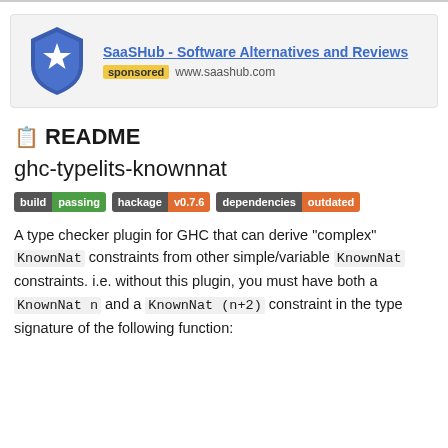[Figure (logo): SaaSHub advertisement banner with shield logo, title 'SaaSHub - Software Alternatives and Reviews', sponsored badge, and www.saashub.com URL]
📋 README
ghc-typelits-knownnat
[Figure (other): Badges: build passing | hackage v0.7.6 | dependencies outdated]
A type checker plugin for GHC that can derive "complex" KnownNat constraints from other simple/variable KnownNat constraints. i.e. without this plugin, you must have both a KnownNat n and a KnownNat (n+2) constraint in the type signature of the following function: